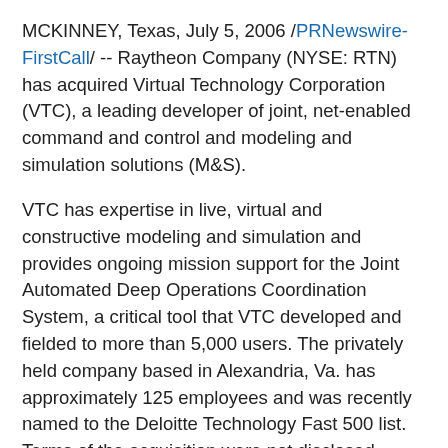MCKINNEY, Texas, July 5, 2006 /PRNewswire-FirstCall/ -- Raytheon Company (NYSE: RTN) has acquired Virtual Technology Corporation (VTC), a leading developer of joint, net-enabled command and control and modeling and simulation solutions (M&S).
VTC has expertise in live, virtual and constructive modeling and simulation and provides ongoing mission support for the Joint Automated Deep Operations Coordination System, a critical tool that VTC developed and fielded to more than 5,000 users. The privately held company based in Alexandria, Va. has approximately 125 employees and was recently named to the Deloitte Technology Fast 500 list. Terms of the acquisition were not disclosed.
"With VTC, Raytheon is adding cutting-edge capabilities that are critical to our customers and our position in net-centric operations and mission system integration," said